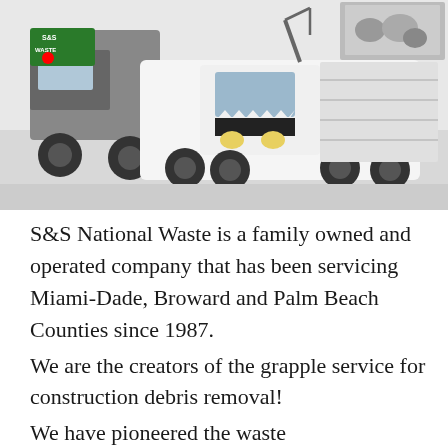[Figure (photo): Photo of S&S Waste white trucks including a grapple truck and other waste vehicles, with the S&S Waste logo visible in the upper left corner.]
S&S National Waste is a family owned and operated company that has been servicing Miami-Dade, Broward and Palm Beach Counties since 1987.
We are the creators of the grapple service for construction debris removal!
We have pioneered the waste